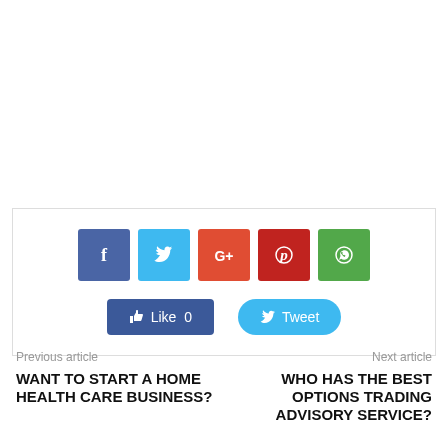[Figure (infographic): Social media share box with Facebook, Twitter, Google+, Pinterest, WhatsApp icon buttons, and Like and Tweet reaction buttons]
Previous article
Next article
WANT TO START A HOME HEALTH CARE BUSINESS?
WHO HAS THE BEST OPTIONS TRADING ADVISORY SERVICE?